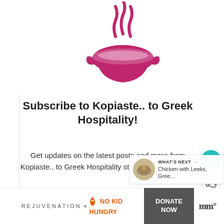[Figure (logo): Pink/magenta stylized cooking pot with steam logo for Kopiaste Greek Hospitality blog]
Subscribe to Kopiaste.. to Greek Hospitality!
Get updates on the latest posts and more from Kopiaste.. to Greek Hospitality straight to your inbox.
[Figure (other): Email subscription input field with placeholder text 'Your Email...']
[Figure (other): Advertisement banner: REJUVENATION + NO KID HUNGRY with DONATE NOW button]